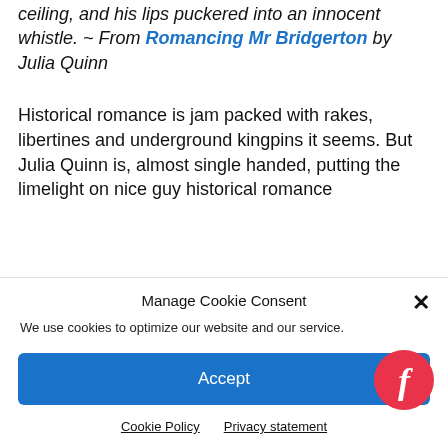ceiling, and his lips puckered into an innocent whistle. ~ From Romancing Mr Bridgerton by Julia Quinn
Historical romance is jam packed with rakes, libertines and underground kingpins it seems. But Julia Quinn is, almost single handed, putting the limelight on nice guy historical romance
Manage Cookie Consent
We use cookies to optimize our website and our service.
Accept
Cookie Policy  Privacy statement